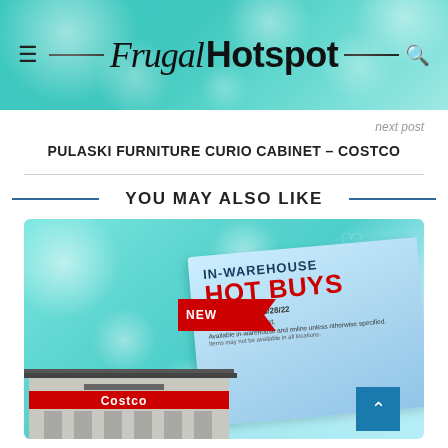Frugal Hotspot
next post
PULASKI FURNITURE CURIO CABINET – COSTCO
YOU MAY ALSO LIKE
[Figure (photo): Costco In-Warehouse Hot Buys promotional card showing 'Valid 8/20/22 - 8/28/22, While Supplies Last, Available in-warehouse and online unless otherwise specified. Items may not be available in all locations.' with NEW ribbon, set against a teal bokeh background with Costco store building at bottom.]